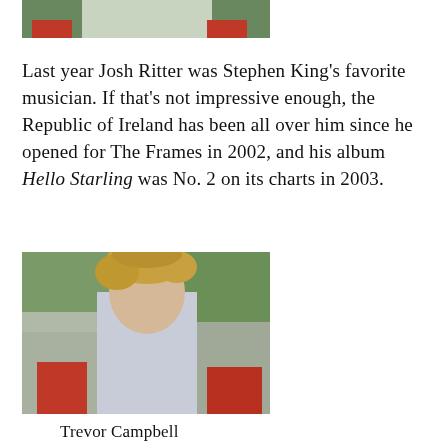[Figure (photo): Partial photo of a person outdoors, cropped at top of page, with green foliage and red chairs visible in background]
Last year Josh Ritter was Stephen King’s favorite musician. If that’s not impressive enough, the Republic of Ireland has been all over him since he opened for The Frames in 2002, and his album Hello Starling was No. 2 on its charts in 2003.
[Figure (photo): Photo of Trevor Campbell, a young man with curly hair, wearing a light blue shirt, seated outdoors with green foliage and red chairs in background]
Trevor Campbell